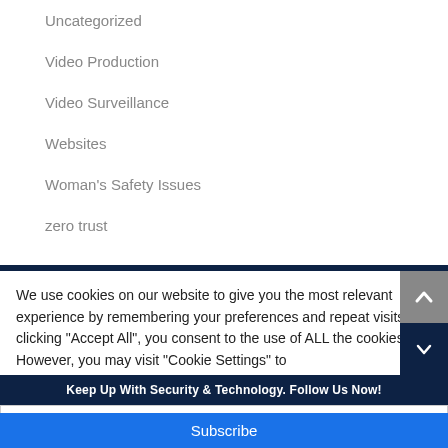Uncategorized
Video Production
Video Surveillance
Websites
Woman's Safety Issues
zero trust
We use cookies on our website to give you the most relevant experience by remembering your preferences and repeat visits. By clicking “Accept All”, you consent to the use of ALL the cookies. However, you may visit "Cookie Settings" to
Keep Up With Security & Technology. Follow Us Now!
Your email address..
Subscribe